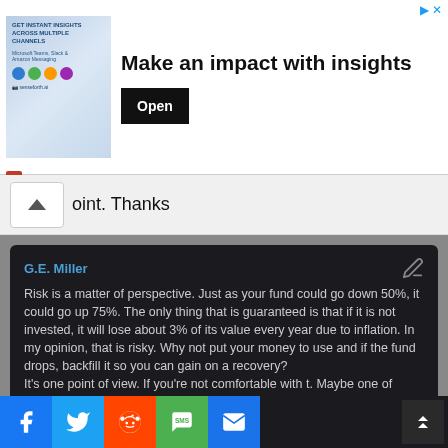[Figure (screenshot): Advertisement banner: 'Make an impact with insights' with Open button, featuring Sense Forth brand logo. Image shows a woman with mobile app icons.]
oint. Thanks
G.E. Miller
Risk is a matter of perspective. Just as your fund could go down 50%, it could go up 75%. The only thing that is guaranteed is that if it is not invested, it will lose about 3% of its value every year due to inflation. In my opinion, that is risky. Why not put your money to use and if the fund drops, backfill it so you can gain on a recovery?
It's one point of view. If you're not comfortable with t. Maybe one of these days, interest rates on CDs/money market will go...
[Figure (screenshot): Social sharing bar with Facebook, Twitter, Reddit, SMS, and Email buttons at the bottom of the page.]